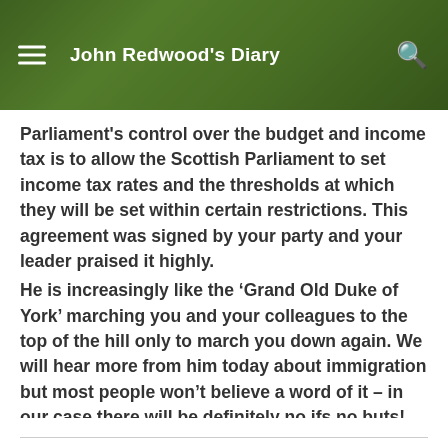John Redwood's Diary
Parliament's control over the budget and income tax is to allow the Scottish Parliament to set income tax rates and the thresholds at which they will be set within certain restrictions. This agreement was signed by your party and your leader praised it highly.
He is increasingly like the ‘Grand Old Duke of York’ marching you and your colleagues to the top of the hill only to march you down again. We will hear more from him today about immigration but most people won’t believe a word of it – in our case there will be definitely no ifs,no buts! Still, you won’t hear a word of criticism about him which, sadly, shows just how blind you are to what is happening around you.